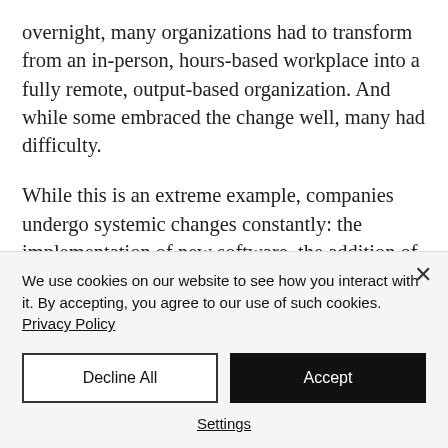overnight, many organizations had to transform from an in-person, hours-based workplace into a fully remote, output-based organization. And while some embraced the change well, many had difficulty.
While this is an extreme example, companies undergo systemic changes constantly: the implementation of new software, the addition of a new product
We use cookies on our website to see how you interact with it. By accepting, you agree to our use of such cookies. Privacy Policy
Decline All
Accept
Settings